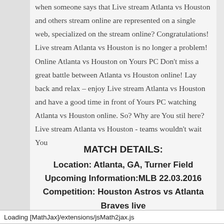when someone says that Live stream Atlanta vs Houston and others stream online are represented on a single web, specialized on the stream online? Congratulations! Live stream Atlanta vs Houston is no longer a problem! Online Atlanta vs Houston on Yours PC Don't miss a great battle between Atlanta vs Houston online! Lay back and relax – enjoy Live stream Atlanta vs Houston and have a good time in front of Yours PC watching Atlanta vs Houston online. So? Why are You stil here? Live stream Atlanta vs Houston - teams wouldn't wait You
MATCH DETAILS:
Location: Atlanta, GA, Turner Field
Upcoming Information:MLB 22.03.2016
Competition: Houston Astros vs Atlanta Braves live
Loading [MathJax]/extensions/jsMath2jax.js